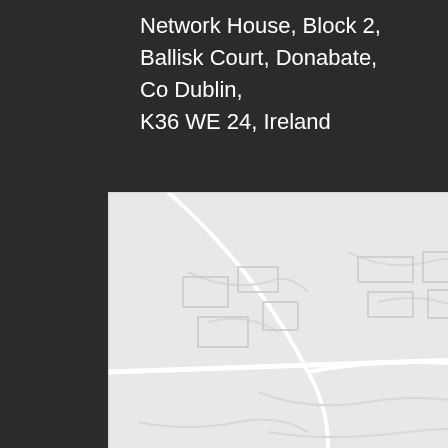Network House, Block 2,
Ballisk Court, Donabate,
Co Dublin,
K36 WE 24, Ireland
[Figure (map): Google Maps screenshot showing Donabate area in Ireland. Shows road network with SuperValu Donabate location pin marked in blue, areas labeled Donabate and BALLALEASE, roads labeled R126, and partial text 'Donaba' at bottom right.]